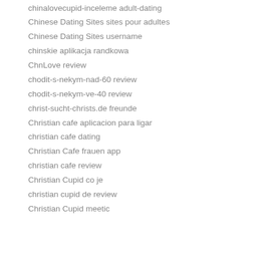chinalovecupid-inceleme adult-dating
Chinese Dating Sites sites pour adultes
Chinese Dating Sites username
chinskie aplikacja randkowa
ChnLove review
chodit-s-nekym-nad-60 review
chodit-s-nekym-ve-40 review
christ-sucht-christs.de freunde
Christian cafe aplicacion para ligar
christian cafe dating
Christian Cafe frauen app
christian cafe review
Christian Cupid co je
christian cupid de review
Christian Cupid meetic